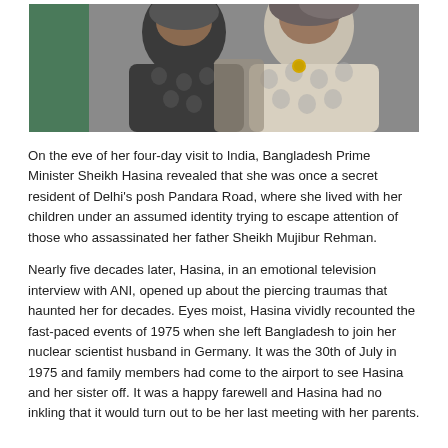[Figure (photo): Photo of Bangladesh Prime Minister Sheikh Hasina with another person, both wearing patterned traditional dress. Hasina wears a floral brooch.]
On the eve of her four-day visit to India, Bangladesh Prime Minister Sheikh Hasina revealed that she was once a secret resident of Delhi's posh Pandara Road, where she lived with her children under an assumed identity trying to escape attention of those who assassinated her father Sheikh Mujibur Rehman.
Nearly five decades later, Hasina, in an emotional television interview with ANI, opened up about the piercing traumas that haunted her for decades. Eyes moist, Hasina vividly recounted the fast-paced events of 1975 when she left Bangladesh to join her nuclear scientist husband in Germany. It was the 30th of July in 1975 and family members had come to the airport to see Hasina and her sister off. It was a happy farewell and Hasina had no inkling that it would turn out to be her last meeting with her parents.